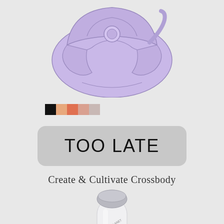[Figure (illustration): A lavender/purple crossbody handbag with geometric flap design and a circular clasp, shown from the front on a light grey background.]
[Figure (other): A row of five color swatches: black, light orange/peach, medium orange, light peach/salmon, and light mauve/grey.]
TOO LATE
Create & Cultivate Crossbody
[Figure (photo): A white handheld beauty device (facial roller or similar) with a silver/chrome head, partially visible at the bottom of the page. The device has 'VANITY PLANET' text on it.]